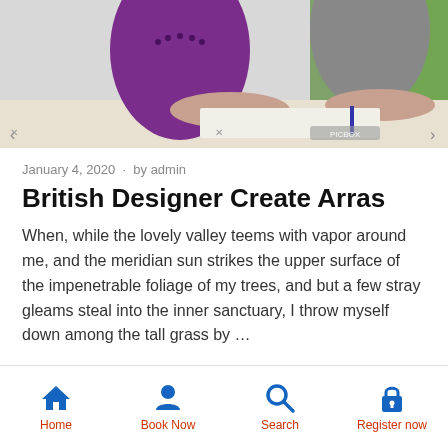[Figure (photo): Two women at a desk working together; one in a purple top with a beaded necklace, another in grey, with green plant in background. Watermarked stock photo.]
January 4, 2020  ·  by admin
British Designer Create Arras
When, while the lovely valley teems with vapor around me, and the meridian sun strikes the upper surface of the impenetrable foliage of my trees, and but a few stray gleams steal into the inner sanctuary, I throw myself down among the tall grass by ...
Home   Book Now   Search   Register now